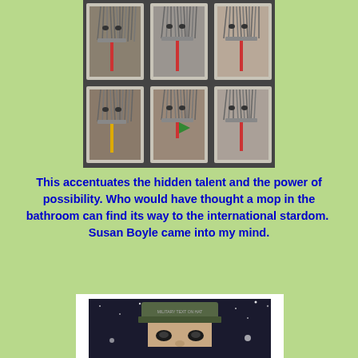[Figure (photo): A 2x3 grid of framed artworks featuring mop heads arranged to look like faces/characters, displayed on a wall. Each framed piece shows a mop with a red handle element, creating humanoid figures.]
This accentuates the hidden talent and the power of possibility. Who would have thought a mop in the bathroom can find its way to the international stardom.  Susan Boyle came into my mind.
[Figure (photo): A framed photograph showing a person wearing a military-style cap with text on it, with eyes visible below the cap, against a dark starry background.]